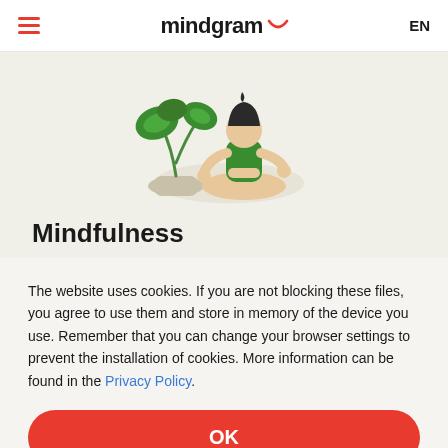mindgram  EN
[Figure (illustration): Illustration of a person in green outfit sitting cross-legged in a meditation pose next to a large leafy plant on a light beige background]
Mindfulness
Mindfulness is a set of techniques that help people be...
The website uses cookies. If you are not blocking these files, you agree to use them and store in memory of the device you use. Remember that you can change your browser settings to prevent the installation of cookies. More information can be found in the Privacy Policy.
OK